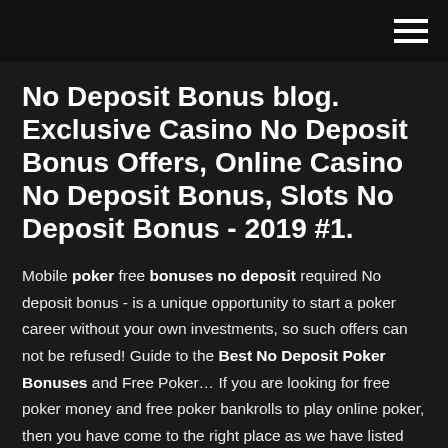≡
No Deposit Bonus blog. Exclusive Casino No Deposit Bonus Offers, Online Casino No Deposit Bonus, Slots No Deposit Bonus - 2019 #1.
Mobile poker free bonuses no deposit required No deposit bonus - is a unique opportunity to start a poker career without your own investments, so such offers can not be refused! Guide to the Best No Deposit Poker Bonuses and Free Poker… If you are looking for free poker money and free poker bankrolls to play online poker, then you have come to the right place as we have listed the best No